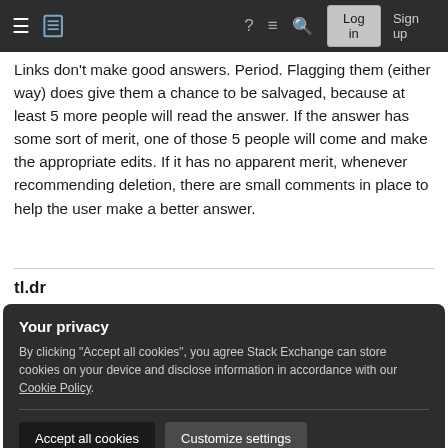Stack Exchange navigation bar with hamburger menu, logo, help, chat, search, Log in, Sign up
Links don't make good answers. Period. Flagging them (either way) does give them a chance to be salvaged, because at least 5 more people will read the answer. If the answer has some sort of merit, one of those 5 people will come and make the appropriate edits. If it has no apparent merit, whenever recommending deletion, there are small comments in place to help the user make a better answer.
tl.dr
Your privacy
By clicking "Accept all cookies", you agree Stack Exchange can store cookies on your device and disclose information in accordance with our Cookie Policy.
Accept all cookies   Customize settings
than a link with little remarkable content, flag it